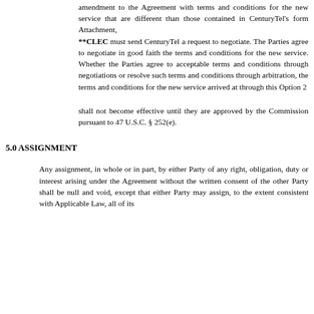amendment to the Agreement with terms and conditions for the new service that are different than those contained in CenturyTel's form Attachment, **CLEC must send CenturyTel a request to negotiate. The Parties agree to negotiate in good faith the terms and conditions for the new service. Whether the Parties agree to acceptable terms and conditions through negotiations or resolve such terms and conditions through arbitration, the terms and conditions for the new service arrived at through this Option 2
shall not become effective until they are approved by the Commission pursuant to 47 U.S.C. § 252(e).
5.0 ASSIGNMENT
Any assignment, in whole or in part, by either Party of any right, obligation, duty or interest arising under the Agreement without the written consent of the other Party shall be null and void, except that either Party may assign, to the extent consistent with Applicable Law, all of its